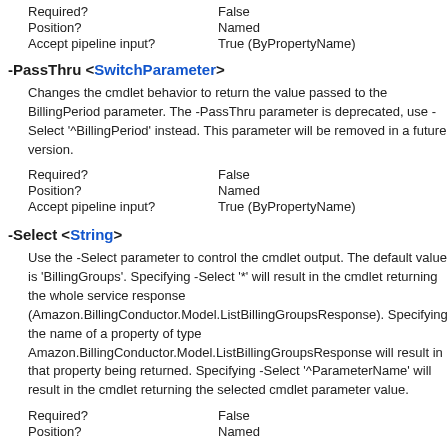Required?    False
Position?    Named
Accept pipeline input?    True (ByPropertyName)
-PassThru <SwitchParameter>
Changes the cmdlet behavior to return the value passed to the BillingPeriod parameter. The -PassThru parameter is deprecated, use -Select '^BillingPeriod' instead. This parameter will be removed in a future version.
Required?    False
Position?    Named
Accept pipeline input?    True (ByPropertyName)
-Select <String>
Use the -Select parameter to control the cmdlet output. The default value is 'BillingGroups'. Specifying -Select '*' will result in the cmdlet returning the whole service response (Amazon.BillingConductor.Model.ListBillingGroupsResponse). Specifying the name of a property of type Amazon.BillingConductor.Model.ListBillingGroupsResponse will result in that property being returned. Specifying -Select '^ParameterName' will result in the cmdlet returning the selected cmdlet parameter value.
Required?    False
Position?    Named